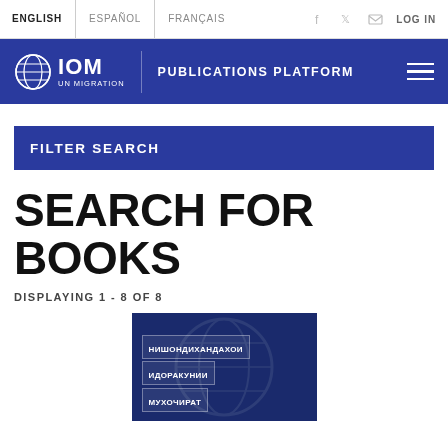ENGLISH | ESPAÑOL | FRANÇAIS | LOG IN
IOM UN MIGRATION — PUBLICATIONS PLATFORM
FILTER SEARCH
SEARCH FOR BOOKS
DISPLAYING 1 - 8 OF 8
[Figure (illustration): Book cover with dark blue background showing a world map globe, with Cyrillic/Tajik text: НИШОНДИХАНДАХОИ ИДОРАКУНИИ МУХОЧИРАТ]